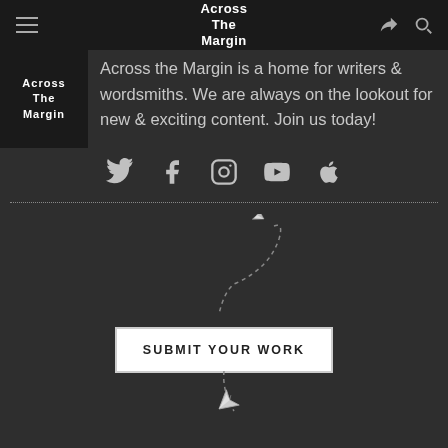Across The Margin
[Figure (logo): Across The Margin logo block - white text on black background]
Across the Margin is a home for writers & wordsmiths. We are always on the lookout for new & exciting content. Join us today!
[Figure (infographic): Social media icons: Twitter, Facebook, Instagram, YouTube, Apple]
[Figure (illustration): Paper plane with dashed trajectory arc above a SUBMIT YOUR WORK button, with paper plane icon below the button]